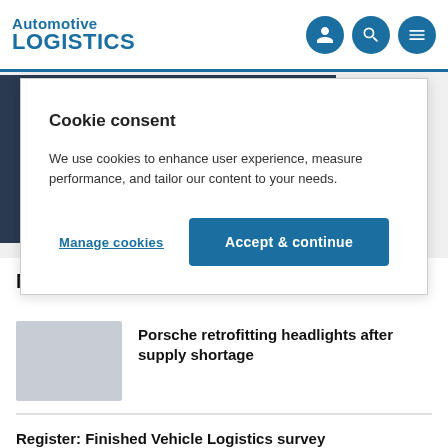Automotive LOGISTICS
Cookie consent
We use cookies to enhance user experience, measure performance, and tailor our content to your needs.
Manage cookies
Accept & continue
[Figure (photo): Dark article background image behind the cookie consent modal]
Most popular
[Figure (photo): Thumbnail image for Porsche article]
Porsche retrofitting headlights after supply shortage
Register: Finished Vehicle Logistics survey